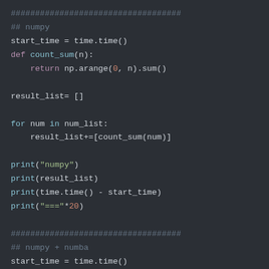[Figure (screenshot): Python code snippet with syntax highlighting on a dark background (#2b2f35). Shows numpy and numba code sections with colored keywords, function names, strings, and numbers.]